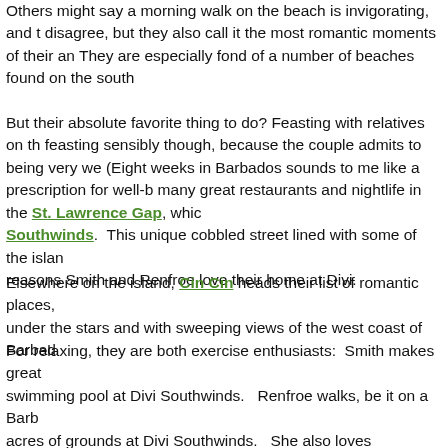Others might say a morning walk on the beach is invigorating, and they disagree, but they also call it the most romantic moments of their an... They are especially fond of a number of beaches found on the south...
But their absolute favorite thing to do?  Feasting with relatives on th... feasting sensibly though, because the couple admits to being very we... (Eight weeks in Barbados sounds to me like a prescription for well-b... many great restaurants and nightlife in the St. Lawrence Gap, whic... Southwinds.  This unique cobbled street lined with some of the isla... reasons Smith and Renfroe love their home at Divi.
Elsewhere on the island, Cin Cin heads their list of romantic places, under the stars and with sweeping views of the west coast of Barbad...
For relaxing, they are both exercise enthusiasts:  Smith makes great ... swimming pool at Divi Southwinds.   Renfroe walks, be it on a Barb... acres of grounds at Divi Southwinds.   She also loves genealogical s... expert research skills to work tracing the family tree, both the Barba... north.